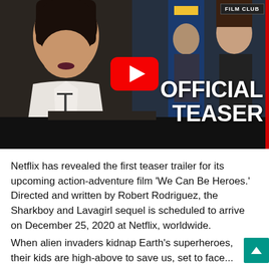[Figure (screenshot): YouTube video thumbnail showing a woman in a white outfit at a podium with 'OFFICIAL TEASER' text overlay and YouTube play button. Film Club badge in top right corner.]
Netflix has revealed the first teaser trailer for its upcoming action-adventure film 'We Can Be Heroes.' Directed and written by Robert Rodriguez, the Sharkboy and Lavagirl sequel is scheduled to arrive on December 25, 2020 at Netflix, worldwide.
When alien invaders kidnap Earth's superheroes, their kids are high-above to save us, set to face...